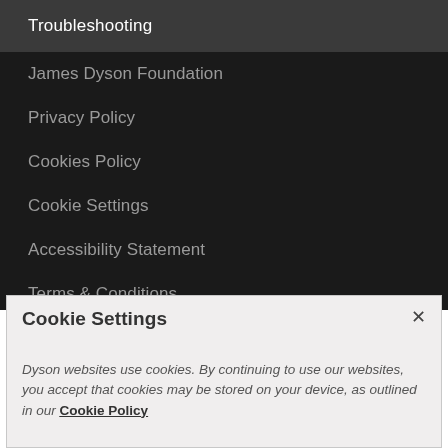Troubleshooting
James Dyson Foundation
Privacy Policy
Cookies Policy
Cookie Settings
Accessibility Statement
Terms & Conditions
Order status
Financing
Safety recall
Cookie Settings
Dyson websites use cookies. By continuing to use our websites, you accept that cookies may be stored on your device, as outlined in our Cookie Policy